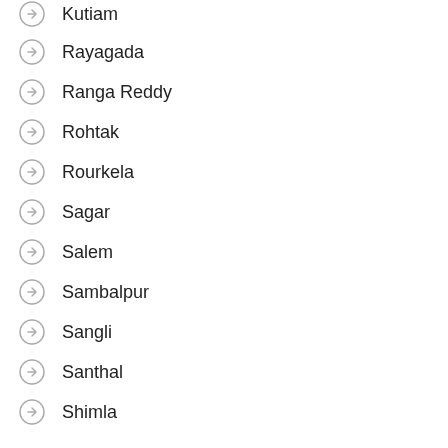Kutiam
Rayagada
Ranga Reddy
Rohtak
Rourkela
Sagar
Salem
Sambalpur
Sangli
Santhal
Shimla